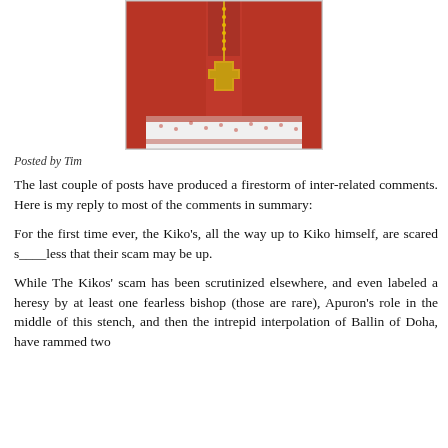[Figure (photo): Close-up photo of a person wearing red cardinal robes with a gold cross necklace on a gold chain, with red and white lace vestment at the bottom.]
Posted by Tim
The last couple of posts have produced a firestorm of inter-related comments. Here is my reply to most of the comments in summary:
For the first time ever, the Kiko's, all the way up to Kiko himself, are scared s____less that their scam may be up.
While The Kikos' scam has been scrutinized elsewhere, and even labeled a heresy by at least one fearless bishop (those are rare), Apuron's role in the middle of this stench, and then the intrepid interpolation of Ballin of Doha, have rammed two